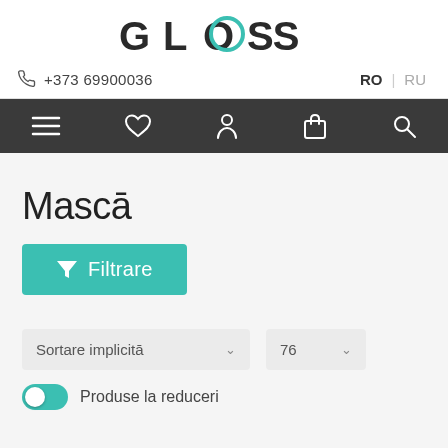[Figure (logo): GLOSS brand logo in black with teal/cyan accent on the letter O]
+373 69900036  RO | RU
[Figure (infographic): Dark navigation bar with icons: hamburger menu, heart/wishlist, user account, shopping bag, and search]
Mascā
[Figure (infographic): Teal filter button with funnel icon and text Filtrare]
Sortare implicitā  ∨   76  ∨
Produse la reduceri